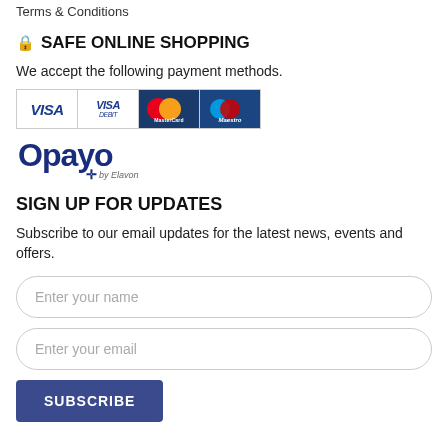Terms & Conditions
SAFE ONLINE SHOPPING
We accept the following payment methods.
[Figure (other): Payment method logos: VISA, VISA Debit, MasterCard, Maestro]
[Figure (logo): Opayo by Elavon logo]
SIGN UP FOR UPDATES
Subscribe to our email updates for the latest news, events and offers.
Enter your name (input field)
Enter your email (input field)
SUBSCRIBE (button)